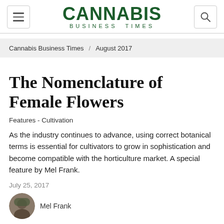CANNABIS BUSINESS TIMES
Cannabis Business Times / August 2017
The Nomenclature of Female Flowers
Features - Cultivation
As the industry continues to advance, using correct botanical terms is essential for cultivators to grow in sophistication and become compatible with the horticulture market. A special feature by Mel Frank.
July 25, 2017
Mel Frank